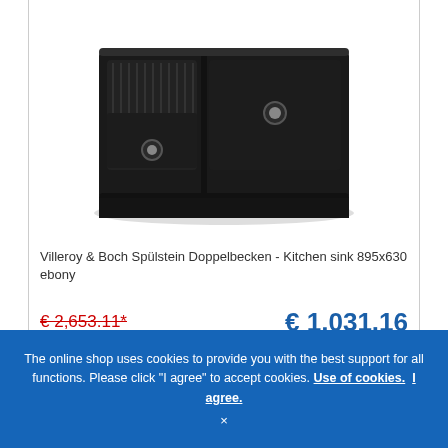[Figure (photo): Black double-basin kitchen sink (Villeroy & Boch Spülstein Doppelbecken) shown from above at a slight angle, with a ribbed draining section on the left and two basins with round chrome drains.]
Villeroy & Boch Spülstein Doppelbecken - Kitchen sink 895x630 ebony
€ 2,653.11*
€ 1,031.16
Delivery time: approx. 1-2 weeks
Article no.: 632392S5
The online shop uses cookies to provide you with the best support for all functions. Please click "I agree" to accept cookies. Use of cookies. I agree.